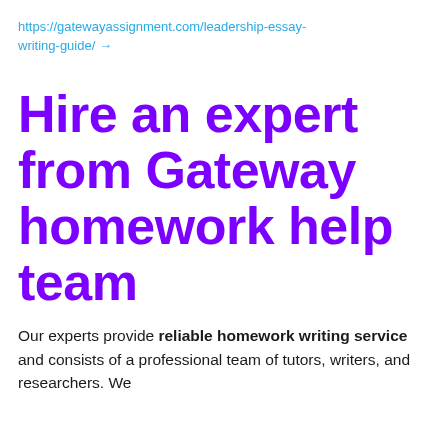https://gatewayassignment.com/leadership-essay-writing-guide/ →
Hire an expert from Gateway homework help team
Our experts provide reliable homework writing service and consists of a professional team of tutors, writers, and researchers. We